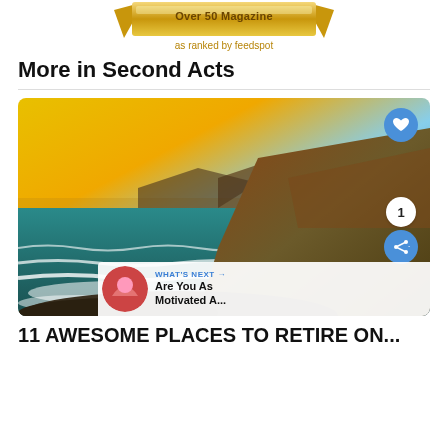[Figure (illustration): Gold ribbon banner with text 'Over 50 Magazine' and subtitle 'as ranked by feedspot']
More in Second Acts
[Figure (photo): Coastal landscape at sunset showing dramatic cliffs, ocean waves, and a golden/blue sky. A heart button and share button overlay on the right side. A 'WHAT'S NEXT → Are You As Motivated A...' preview bar overlays the bottom right.]
11 AWESOME PLACES TO RETIRE ON...